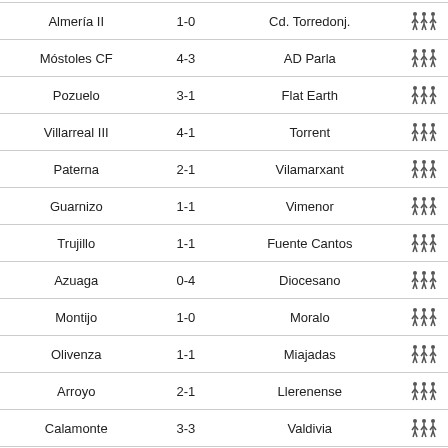| Home | Score | Away |  |
| --- | --- | --- | --- |
| Almería II | 1-0 | Cd. Torredonj. |  |
| Móstoles CF | 4-3 | AD Parla |  |
| Pozuelo | 3-1 | Flat Earth |  |
| Villarreal III | 4-1 | Torrent |  |
| Paterna | 2-1 | Vilamarxant |  |
| Guarnizo | 1-1 | Vimenor |  |
| Trujillo | 1-1 | Fuente Cantos |  |
| Azuaga | 0-4 | Diocesano |  |
| Montijo | 1-0 | Moralo |  |
| Olivenza | 1-1 | Miajadas |  |
| Arroyo | 2-1 | Llerenense |  |
| Calamonte | 3-3 | Valdivia |  |